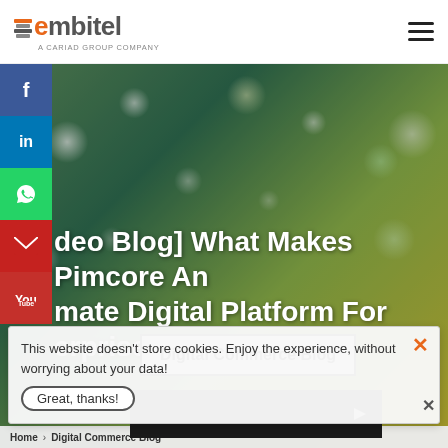embitel - A CARIAD GROUP COMPANY
[Figure (screenshot): Hero banner image with blurred bokeh background showing circuit board or nature elements. Contains text: '[Video Blog] What Makes Pimcore An Ultimate Digital Platform For Enterprises' and a 'Digital Commerce Blog' button.]
This website doesn't store cookies. Enjoy the experience, without worrying about your data!
Great, thanks!
Home > Digital Commerce Blog